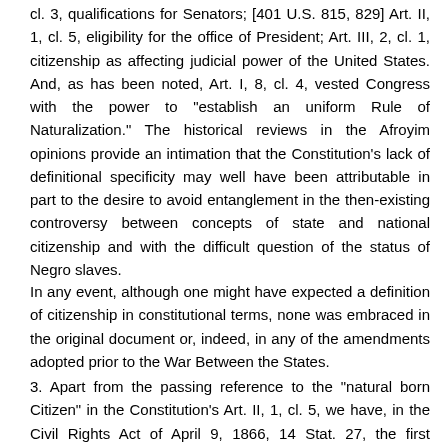cl. 3, qualifications for Senators; [401 U.S. 815, 829] Art. II, 1, cl. 5, eligibility for the office of President; Art. III, 2, cl. 1, citizenship as affecting judicial power of the United States. And, as has been noted, Art. I, 8, cl. 4, vested Congress with the power to "establish an uniform Rule of Naturalization." The historical reviews in the Afroyim opinions provide an intimation that the Constitution's lack of definitional specificity may well have been attributable in part to the desire to avoid entanglement in the then-existing controversy between concepts of state and national citizenship and with the difficult question of the status of Negro slaves.
In any event, although one might have expected a definition of citizenship in constitutional terms, none was embraced in the original document or, indeed, in any of the amendments adopted prior to the War Between the States.
3. Apart from the passing reference to the "natural born Citizen" in the Constitution's Art. II, 1, cl. 5, we have, in the Civil Rights Act of April 9, 1866, 14 Stat. 27, the first statutory recognition and concomitant formal definition of